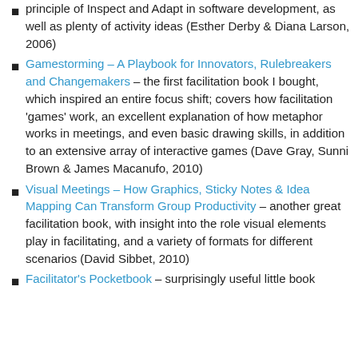development, as well as plenty of activity ideas (Esther Derby & Diana Larson, 2006)
Gamestorming – A Playbook for Innovators, Rulebreakers and Changemakers – the first facilitation book I bought, which inspired an entire focus shift; covers how facilitation 'games' work, an excellent explanation of how metaphor works in meetings, and even basic drawing skills, in addition to an extensive array of interactive games (Dave Gray, Sunni Brown & James Macanufo, 2010)
Visual Meetings – How Graphics, Sticky Notes & Idea Mapping Can Transform Group Productivity – another great facilitation book, with insight into the role visual elements play in facilitating, and a variety of formats for different scenarios (David Sibbet, 2010)
Facilitator's Pocketbook – surprisingly useful little book